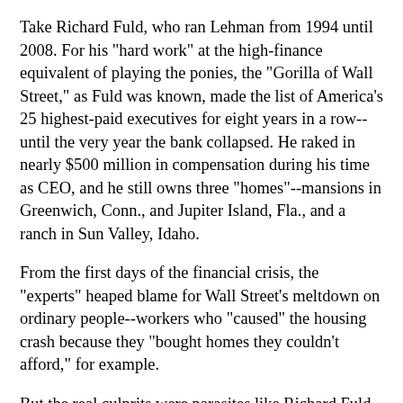Take Richard Fuld, who ran Lehman from 1994 until 2008. For his "hard work" at the high-finance equivalent of playing the ponies, the "Gorilla of Wall Street," as Fuld was known, made the list of America's 25 highest-paid executives for eight years in a row--until the very year the bank collapsed. He raked in nearly $500 million in compensation during his time as CEO, and he still owns three "homes"--mansions in Greenwich, Conn., and Jupiter Island, Fla., and a ranch in Sun Valley, Idaho.
From the first days of the financial crisis, the "experts" heaped blame for Wall Street's meltdown on ordinary people--workers who "caused" the housing crash because they "bought homes they couldn't afford," for example.
But the real culprits were parasites like Richard Fuld. No one could possibly claim that Fuld or his fellow banksters contributed anything to the good of society as a whole. On the contrary, they sucked billions and